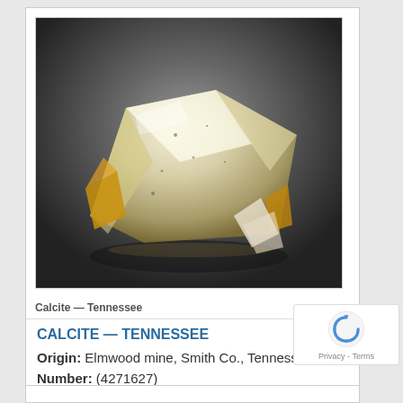[Figure (photo): Photograph of a calcite crystal specimen from Tennessee, showing pale yellow-white translucent crystals with faceted surfaces against a dark gradient background]
Calcite — Tennessee
CALCITE — TENNESSEE
Origin: Elmwood mine, Smith Co., Tennessee, USA
Number: (4271627)
Size: 11.0 x 8.0 x 3.0 cm (cabinet)
250.00